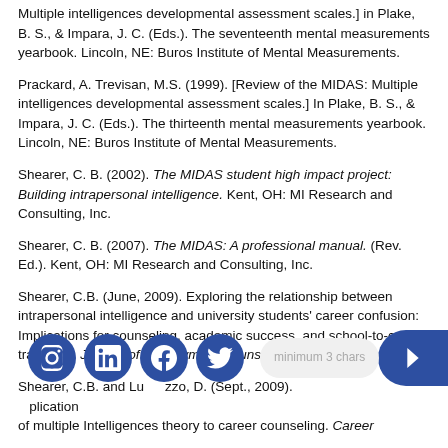Multiple intelligences developmental assessment scales.] in Plake, B. S., & Impara, J. C. (Eds.). The seventeenth mental measurements yearbook. Lincoln, NE: Buros Institute of Mental Measurements.
Prackard, A. Trevisan, M.S. (1999). [Review of the MIDAS: Multiple intelligences developmental assessment scales.] In Plake, B. S., & Impara, J. C. (Eds.). The thirteenth mental measurements yearbook. Lincoln, NE: Buros Institute of Mental Measurements.
Shearer, C. B. (2002). The MIDAS student high impact project: Building intrapersonal intelligence. Kent, OH: MI Research and Consulting, Inc.
Shearer, C. B. (2007). The MIDAS: A professional manual. (Rev. Ed.). Kent, OH: MI Research and Consulting, Inc.
Shearer, C.B. (June, 2009). Exploring the relationship between intrapersonal intelligence and university students' career confusion: Implications for counseling, academic success, and school-to-career transition. Journal of Employment Counseling. 46, 52 - 61.
Shearer, C.B. and Luzzo, D. (Sept., 2009). ...plication of multiple intelligences theory to career counseling. Career...